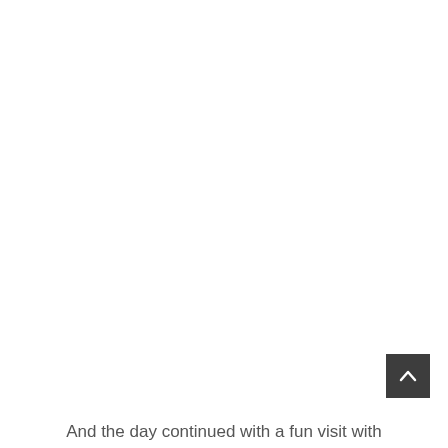[Figure (other): Scroll-to-top button: dark gray square with an upward-pointing chevron/caret icon in white, positioned in the lower-right area of the page.]
And the day continued with a fun visit with